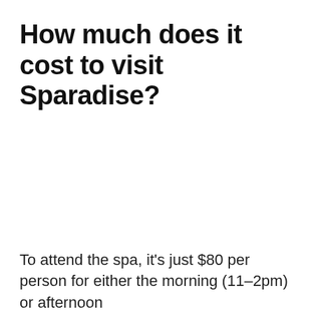How much does it cost to visit Sparadise?
To attend the spa, it's just $80 per person for either the morning (11–2pm) or afternoon